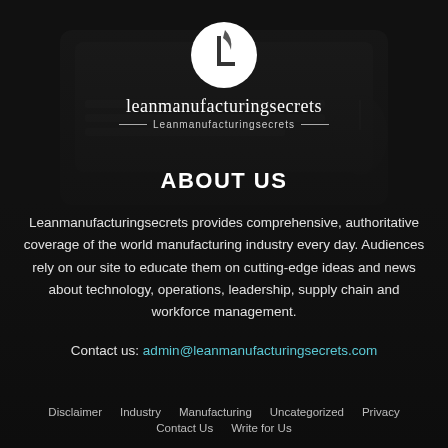[Figure (logo): Leanmanufacturingsecrets logo: white circle with stylized L letter mark, text 'leanmanufacturingsecrets' below with tagline 'Leanmanufacturingsecrets' flanked by decorative lines]
ABOUT US
Leanmanufacturingsecrets provides comprehensive, authoritative coverage of the world manufacturing industry every day. Audiences rely on our site to educate them on cutting-edge ideas and news about technology, operations, leadership, supply chain and workforce management.
Contact us: admin@leanmanufacturingsecrets.com
Disclaimer   Industry   Manufacturing   Uncategorized   Privacy   Contact Us   Write for Us